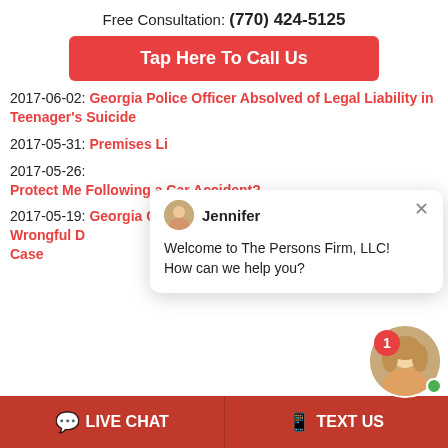Free Consultation: (770) 424-5125
Tap Here To Call Us
2017-06-02: Georgia Police Officer Absolved of Legal Liability in Teenager's Suicide
2017-05-31: [Premises Li...]
2017-05-26: [Protect Me Following a Car Accident?]
2017-05-19: Georgia Court Upholds $[…] Million Verdict in Infant Wrongful D[eath] Case
[Figure (screenshot): Chat popup from Jennifer at The Persons Firm LLC saying 'Welcome to The Persons Firm, LLC! How can we help you?' with close button and avatar.]
LIVE CHAT
TEXT US